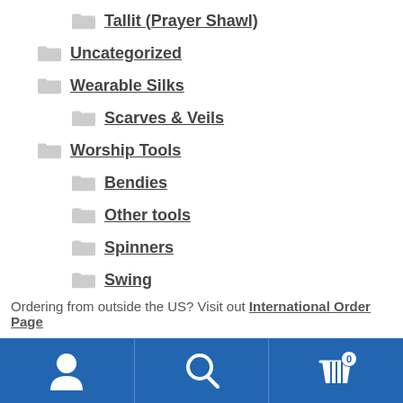Tallit (Prayer Shawl)
Uncategorized
Wearable Silks
Scarves & Veils
Worship Tools
Bendies
Other tools
Spinners
Swing
Ordering from outside the US? Visit out International Order Page
user icon | search icon | cart 0